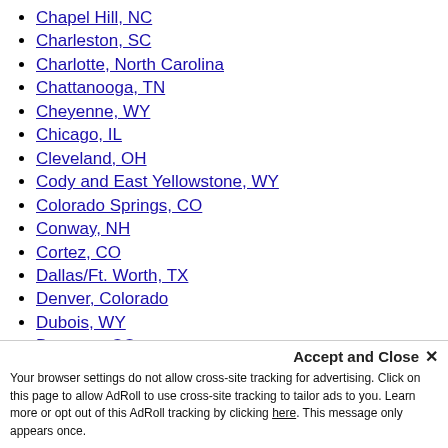Chapel Hill, NC
Charleston, SC
Charlotte, North Carolina
Chattanooga, TN
Cheyenne, WY
Chicago, IL
Cleveland, OH
Cody and East Yellowstone, WY
Colorado Springs, CO
Conway, NH
Cortez, CO
Dallas/Ft. Worth, TX
Denver, Colorado
Dubois, WY
Durango, CO
Eugene, OR
Fayetteville, AR
Flagstaff, AZ
Glens Falls, NY
Greensboro, NC
Greenville, NC
Gulf Shores, AL
Your browser settings do not allow cross-site tracking for advertising. Click on this page to allow AdRoll to use cross-site tracking to tailor ads to you. Learn more or opt out of this AdRoll tracking by clicking here. This message only appears once.